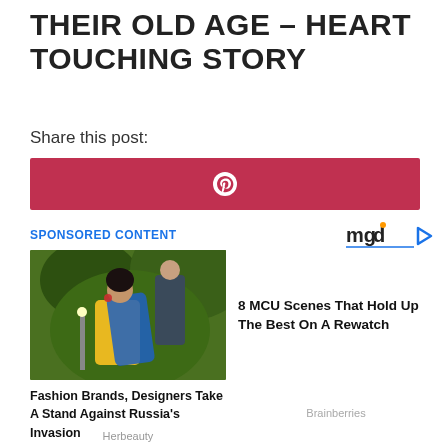THEIR OLD AGE – HEART TOUCHING STORY
Share this post:
[Figure (other): Pinterest share button (red/dark pink background with Pinterest logo in white)]
SPONSORED CONTENT
[Figure (logo): mgid logo with orange dot and play triangle icon]
[Figure (photo): Photo of a woman in a yellow dress with a blue shawl, man in background among green foliage]
Fashion Brands, Designers Take A Stand Against Russia's Invasion
Herbeauty
8 MCU Scenes That Hold Up The Best On A Rewatch
Brainberries